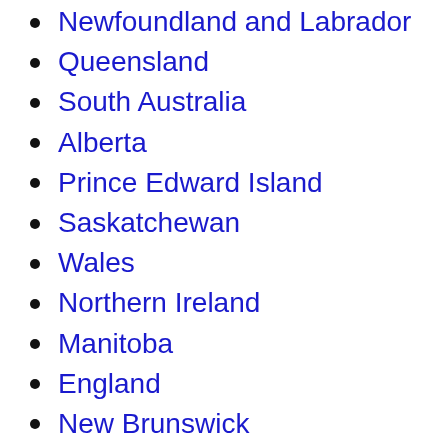Newfoundland and Labrador
Queensland
South Australia
Alberta
Prince Edward Island
Saskatchewan
Wales
Northern Ireland
Manitoba
England
New Brunswick
Northwest Territories